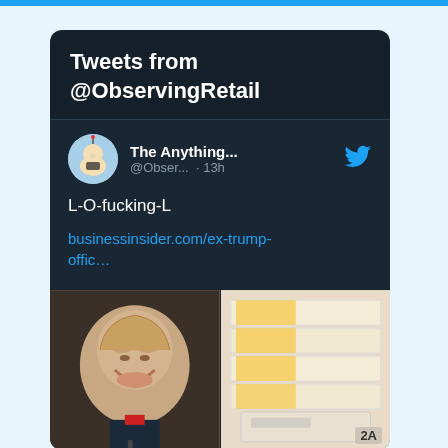[Figure (screenshot): Twitter/X tweet card screenshot showing 'Tweets from @ObservingRetail' header on dark background, with a tweet by 'The Anything...' @Obser... 13h, text 'L-O-fucking-L' and a link businessinsider.com/ex-trump-offic... with two images below: a photo of a laughing man and a photo of stacked envelopes/mail-in ballots with label 2A]
Tweets from @ObservingRetail
The Anything... @Obser... · 13h
L-O-fucking-L
businessinsider.com/ex-trump-offic…